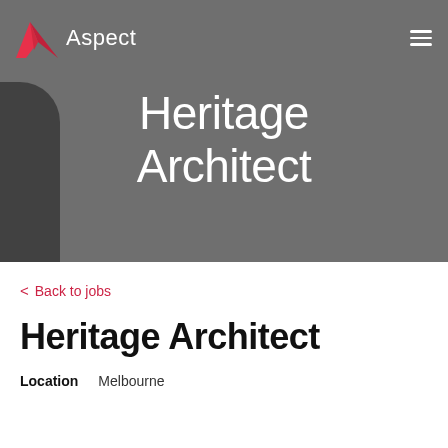[Figure (screenshot): Hero banner with gray background showing a hand/object on the left, Aspect logo and hamburger menu in the top navigation, and 'Heritage Architect' in large white text centered on the banner.]
< Back to jobs
Heritage Architect
Location   Melbourne